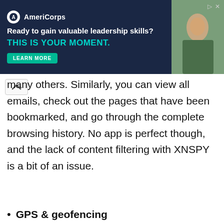[Figure (other): AmeriCorps advertisement banner with dark navy background. Logo with circular icon and 'AmeriCorps' text. Headline: 'Ready to gain valuable leadership skills?' Subheadline in teal: 'THIS IS YOUR MOMENT.' Green 'LEARN MORE' button. Photo of people on right side.]
many others. Similarly, you can view all emails, check out the pages that have been bookmarked, and go through the complete browsing history. No app is perfect though, and the lack of content filtering with XNSPY is a bit of an issue.
GPS & geofencing